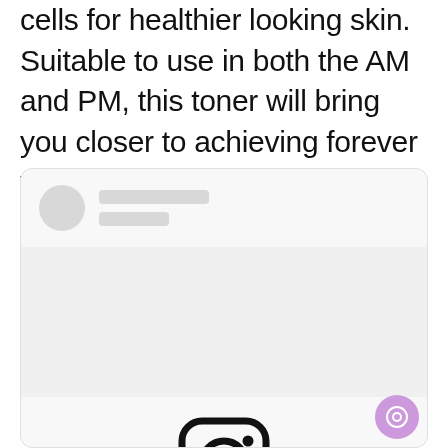cells for healthier looking skin. Suitable to use in both the AM and PM, this toner will bring you closer to achieving forever young looking #skingoals, even during Autumn.
[Figure (screenshot): Instagram embedded post placeholder card with avatar, placeholder lines, empty image area, Instagram logo icon, and 'View this post on Instagram' link. A purple chat bubble icon appears in the bottom right corner.]